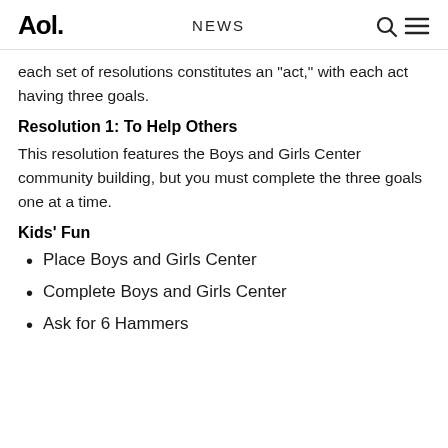Aol.  NEWS
each set of resolutions constitutes an "act," with each act having three goals.
Resolution 1: To Help Others
This resolution features the Boys and Girls Center community building, but you must complete the three goals one at a time.
Kids' Fun
Place Boys and Girls Center
Complete Boys and Girls Center
Ask for 6 Hammers